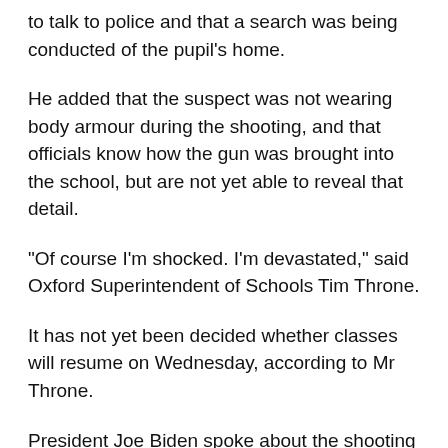to talk to police and that a search was being conducted of the pupil's home.
He added that the suspect was not wearing body armour during the shooting, and that officials know how the gun was brought into the school, but are not yet able to reveal that detail.
“Of course I’m shocked. I’m devastated,” said Oxford Superintendent of Schools Tim Throne.
It has not yet been decided whether classes will resume on Wednesday, according to Mr Throne.
President Joe Biden spoke about the shooting during a visit to Minneapolis, Minnesota.
“My heart goes out to the families enduring the unimaginable